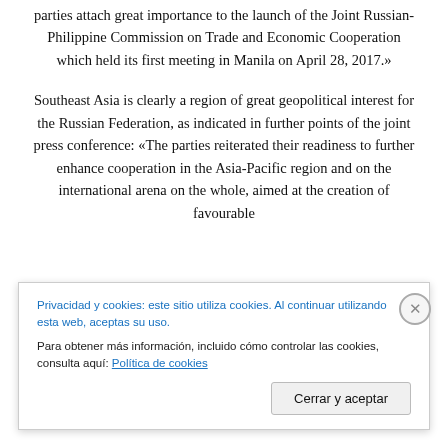parties attach great importance to the launch of the Joint Russian-Philippine Commission on Trade and Economic Cooperation which held its first meeting in Manila on April 28, 2017.»
Southeast Asia is clearly a region of great geopolitical interest for the Russian Federation, as indicated in further points of the joint press conference: «The parties reiterated their readiness to further enhance cooperation in the Asia-Pacific region and on the international arena on the whole, aimed at the creation of favourable
Privacidad y cookies: este sitio utiliza cookies. Al continuar utilizando esta web, aceptas su uso.
Para obtener más información, incluido cómo controlar las cookies, consulta aquí: Política de cookies
Cerrar y aceptar